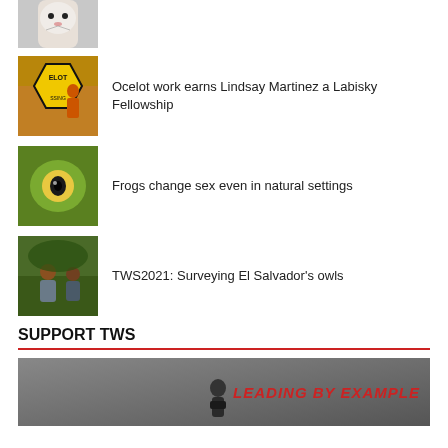[Figure (photo): Thumbnail photo of a cat (black and white) standing outdoors]
[Figure (photo): Thumbnail photo of a woman next to an ocelot crossing sign]
Ocelot work earns Lindsay Martinez a Labisky Fellowship
[Figure (photo): Thumbnail close-up photo of a frog eye]
Frogs change sex even in natural settings
[Figure (photo): Thumbnail photo of researchers in a field]
TWS2021: Surveying El Salvador's owls
SUPPORT TWS
[Figure (photo): Promotional banner image with dark/foggy outdoor scene and red italic text reading LEADING BY EXAMPLE]